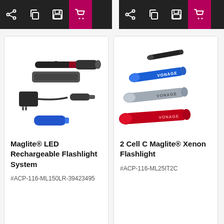[Figure (screenshot): Toolbar with share, copy, save, and shopping cart icons. Shopping cart icon has pink/magenta background indicating active state. Left product toolbar.]
[Figure (screenshot): Toolbar with share, copy, save, and shopping cart icons. Shopping cart icon has pink/magenta background indicating active state. Right product toolbar.]
[Figure (photo): Maglite LED Rechargeable Flashlight System — black flashlight with charging cradle, AC adapter, car charger, and blue battery pack.]
Maglite® LED Rechargeable Flashlight System
#ACP-116-ML150LR-39423495
[Figure (photo): 2 Cell C Maglite Xenon Flashlights in four colors: black (small, top), blue, silver/grey, and red, arranged diagonally, branded VONAGE.]
2 Cell C Maglite® Xenon Flashlight
#ACP-116-ML25IT2C